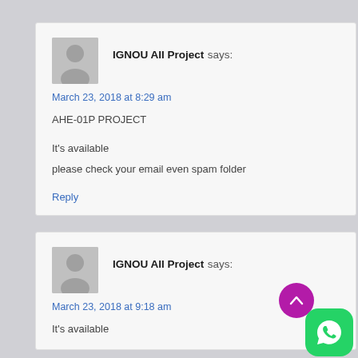IGNOU All Project says:
March 23, 2018 at 8:29 am
AHE-01P PROJECT

It's available
please check your email even spam folder
Reply
IGNOU All Project says:
March 23, 2018 at 9:18 am
It's available